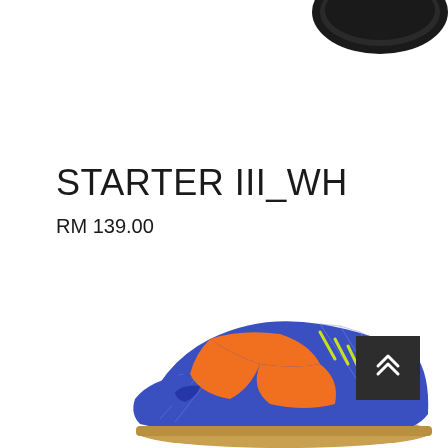[Figure (photo): Partial view of a dark-colored shoe sole/top, cropped at the upper portion of the page]
STARTER III_WH
RM 139.00
[Figure (photo): Blue, orange, and yellow athletic/badminton shoe (STARTER III_WH) shown from the side, facing left, with web-pattern design on upper and gum sole]
[Figure (other): Dark grey back-to-top button with double upward chevron arrows, positioned bottom-right]